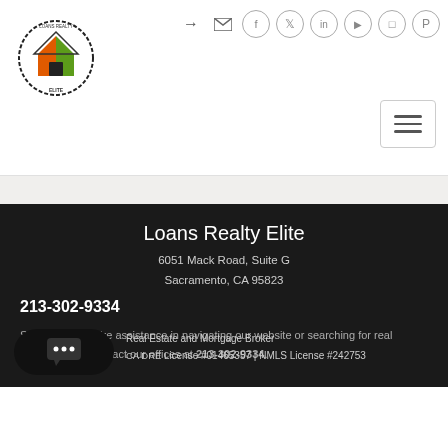[Figure (logo): Loans Realty Elite circular logo with house icon in orange and green]
[Figure (other): Social media icons row: login arrow, email, Facebook, Twitter, LinkedIn, YouTube, Instagram, Pinterest]
[Figure (other): Hamburger menu button with three horizontal lines]
Loans Realty Elite
6051 Mack Road, Suite G
Sacramento, CA 95823
213-302-9334
Should you require assistance in navigating our website or searching for real estate, please contact our offices at 213-302-9334.
Real Estate and Mortgage Broker
CA DRE License #01465357 | NMLS License #242753